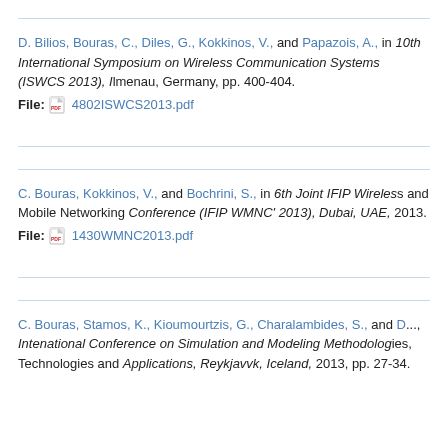D. Bilios, Bouras, C., Diles, G., Kokkinos, V., and Papazois, A., in 10th International Symposium on Wireless Communication Systems (ISWCS 2013), Ilmenau, Germany, pp. 400-404.
File: 4802ISWCS2013.pdf
C. Bouras, Kokkinos, V., and Bochrini, S., in 6th Joint IFIP Wireless and Mobile Networking Conference (IFIP WMNC' 2013), Dubai, UAE, 2013.
File: 1430WMNC2013.pdf
C. Bouras, Stamos, K., Kioumourtzis, G., Charalambides, S., and D... Intenational Conference on Simulation and Modeling Methodologies, Technologies and Applications, Reykjavvk, Iceland, 2013, pp. 27-34.